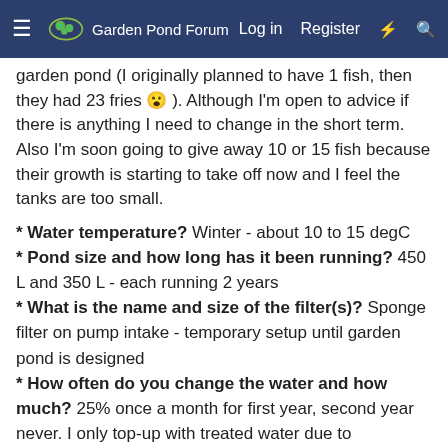Garden Pond Forum — Log in  Register
garden pond (I originally planned to have 1 fish, then they had 23 fries 😮 ). Although I'm open to advice if there is anything I need to change in the short term. Also I'm soon going to give away 10 or 15 fish because their growth is starting to take off now and I feel the tanks are too small.
* Water temperature? Winter - about 10 to 15 degC
* Pond size and how long has it been running? 450 L and 350 L - each running 2 years
* What is the name and size of the filter(s)? Sponge filter on pump intake - temporary setup until garden pond is designed
* How often do you change the water and how much? 25% once a month for first year, second year never. I only top-up with treated water due to evaporation. There are plants and water quality tests have been OK. Fish seem healthy.
* How many days ago was the last water change and how much did you change? 1 year ago.
* How many fish in the pond and their type? 450 l - 15 x